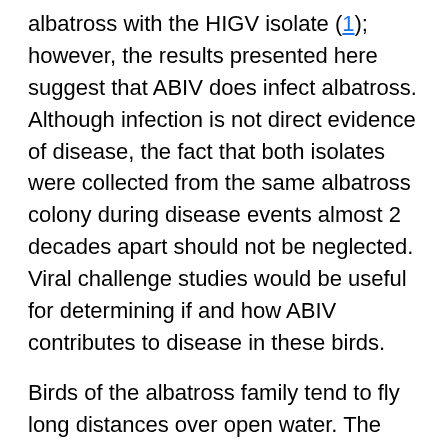albatross with the HIGV isolate (1); however, the results presented here suggest that ABIV does infect albatross. Although infection is not direct evidence of disease, the fact that both isolates were collected from the same albatross colony during disease events almost 2 decades apart should not be neglected. Viral challenge studies would be useful for determining if and how ABIV contributes to disease in these birds.
Birds of the albatross family tend to fly long distances over open water. The geographic range of shy albatross extends from their breeding base in Tasmania to southern Africa (5). White-capped albatross (T. steadi) reportedly migrate from their breeding base in New Zealand as far as South America and eastward into shy albatross territory (7). It is possible to misidentify 1 of these albatross